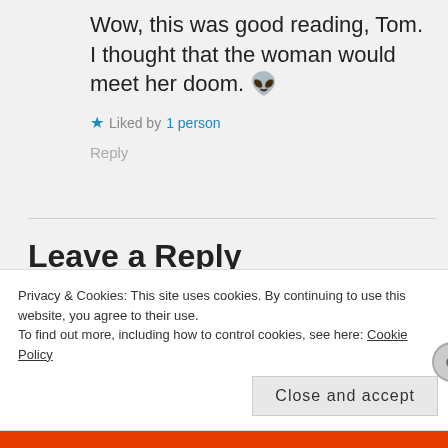Wow, this was good reading, Tom. I thought that the woman would meet her doom. 👽
★ Liked by 1 person
Reply
Leave a Reply
COMMENT *
Privacy & Cookies: This site uses cookies. By continuing to use this website, you agree to their use. To find out more, including how to control cookies, see here: Cookie Policy
Close and accept